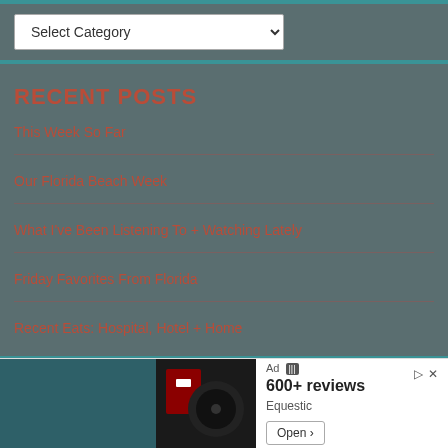Select Category (dropdown)
RECENT POSTS
This Week So Far
Our Florida Beach Week
What I've Been Listening To + Watching Lately
Friday Favorites From Florida
Recent Eats: Hospital, Hotel + Home
CATEGORIES
Ad 600+ reviews Equestic Open